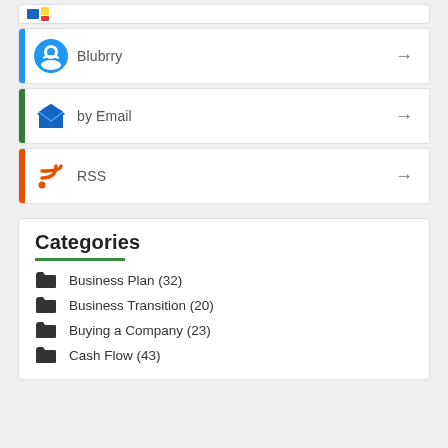Blubrry →
by Email →
RSS →
Categories
Business Plan (32)
Business Transition (20)
Buying a Company (23)
Cash Flow (43)